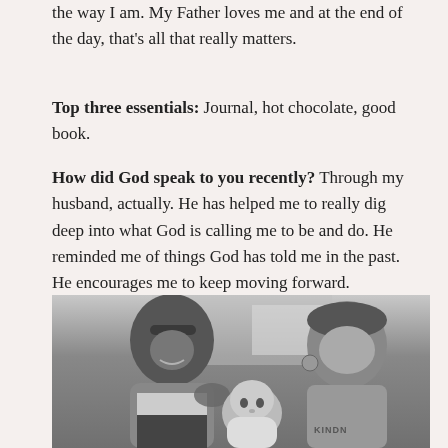the way I am. My Father loves me and at the end of the day, that's all that really matters.
Top three essentials: Journal, hot chocolate, good book.
How did God speak to you recently? Through my husband, actually. He has helped me to really dig deep into what God is calling me to be and do. He reminded me of things God has told me in the past. He encourages me to keep moving forward.
[Figure (photo): Black and white photo of a couple with a baby. A man wearing sunglasses on his head and a woman with curly hair are smiling down at an infant. The woman's shirt reads 'KINDNE'.]